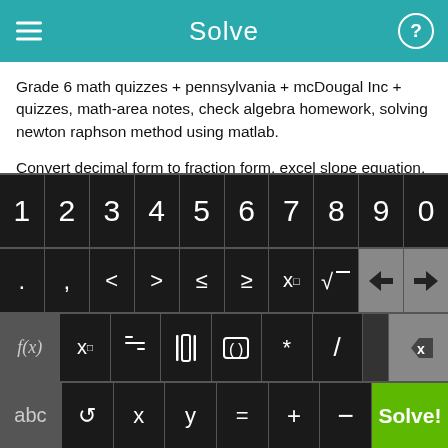Solve
Grade 6 math quizzes + pennsylvania + mcDougal Inc + quizzes, math-area notes, check algebra homework, solving newton raphson method using matlab.
Convert decimal form to fraction form, excel slope equation, multiplying and dividing integers worksheet, teach me algebra, adding integers and rational worksheets, 5 grade prime factors and exponents homework cheats.
[Figure (screenshot): Mobile math calculator keyboard with numeric keys 1-9, 0, symbol keys (. , < > ≤ ≥ x□ √ ← →), function keys (f(x) x□ fraction absolute-value parentheses * / backspace), and bottom row (abc rotate x y = + - Solve! button)]